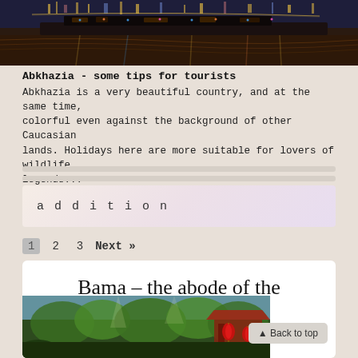[Figure (photo): Night scene of a boat/river with city lights reflecting on water]
Abkhazia - some tips for tourists
Abkhazia is a very beautiful country, and at the same time, colorful even against the background of other Caucasian lands. Holidays here are more suitable for lovers of wildlife, legends...
  Continue reading →
addition
1   2   3   Next »
Bama – the abode of the centenarians in China
[Figure (photo): Garden scene with red lanterns and green trees, Chinese style]
▲ Back to top